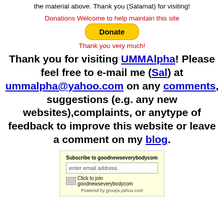the material above. Thank you (Salamat) for visiting!
Donations Welcome to help maintain this site
[Figure (other): PayPal Donate button — yellow rounded rectangle with bold text 'Donate']
Thank you very much!
Thank you for visiting UMMAlpha! Please feel free to e-mail me (Sal) at ummalpha@yahoo.com on any comments, suggestions (e.g. any new websites),complaints, or anytype of feedback to improve this website or leave a comment on my blog.
[Figure (other): Subscribe box with label 'Subscribe to goodnewseverybodycom', email input field, and 'Click to join goodnewseverybodycom' image link]
Powered by groups.yahoo.com